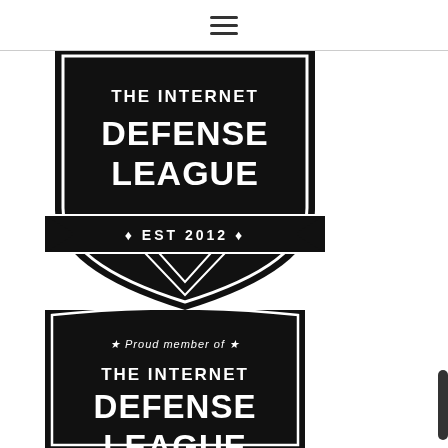hamburger menu icon
[Figure (logo): The Internet Defense League badge logo - black shield shape with bold white text reading THE INTERNET DEFENSE LEAGUE and a banner ribbon below reading EST 2012 with diamond bullet points]
[Figure (logo): The Internet Defense League member badge - black shield shape with italic white text reading Proud member of with stars, and bold white text below reading THE INTERNET DEFENSE LEAGUE (partially cropped)]